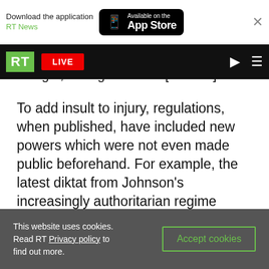[Figure (screenshot): App Store download banner with RT News app promotion and Available on the App Store button]
[Figure (screenshot): RT website navigation bar with green RT logo, red LIVE button, search and menu icons]
at night, through leaks to [obscured] not
To add insult to injury, regulations, when published, have included new powers which were not even made public beforehand. For example, the latest diktat from Johnson's increasingly authoritarian regime includes bans on singing (by customers in groups more than six) and dancing in pubs. People only knew about this once the statutory instrument was published online.
This website uses cookies. Read RT Privacy policy to find out more.